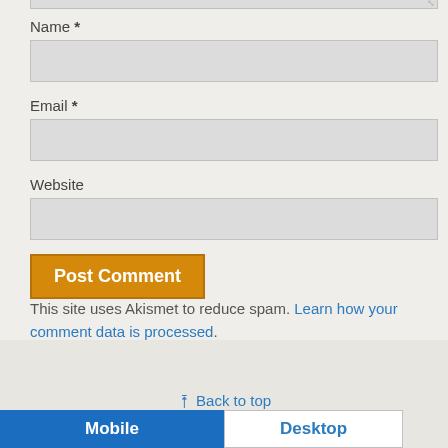Name *
[Figure (screenshot): Empty text input field for Name]
Email *
[Figure (screenshot): Empty text input field for Email]
Website
[Figure (screenshot): Empty text input field for Website]
[Figure (screenshot): Post Comment button in orange/gold color]
This site uses Akismet to reduce spam. Learn how your comment data is processed.
↑ Back to top
Mobile   Desktop